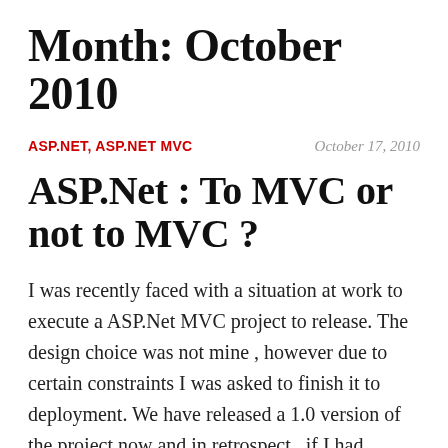Month: October 2010
ASP.NET, ASP.NET MVC
October 17, 2010
ASP.Net : To MVC or not to MVC ?
I was recently faced with a situation at work to execute a ASP.Net MVC project to release. The design choice was not mine , however due to certain constraints I was asked to finish it to deployment. We have released a 1.0 version of the project now and in retrospect , if I had started the design from scratch , would I have